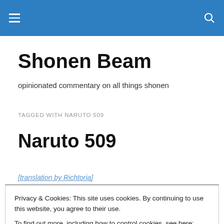Shonen Beam — site header navigation bar
Shonen Beam
opinionated commentary on all things shonen
TAGGED WITH NARUTO 509
Naruto 509
[translation by Richtoria]
Privacy & Cookies: This site uses cookies. By continuing to use this website, you agree to their use.
To find out more, including how to control cookies, see here: Cookie Policy
Close and accept
Naruto being some Infinite Creation of Kushina to save